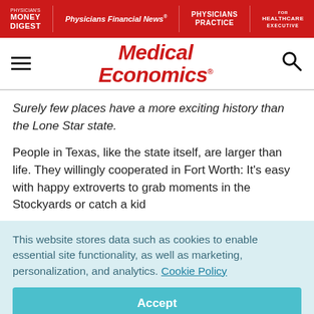Physician's Money Digest | Physicians Financial News | Physicians Practice | Healthcare Executive
[Figure (logo): Medical Economics logo with hamburger menu and search icon]
Surely few places have a more exciting history than the Lone Star state.
People in Texas, like the state itself, are larger than life. They willingly cooperated in Fort Worth: It's easy with happy extroverts to grab moments in the Stockyards or catch a kid
This website stores data such as cookies to enable essential site functionality, as well as marketing, personalization, and analytics. Cookie Policy
Accept
Deny